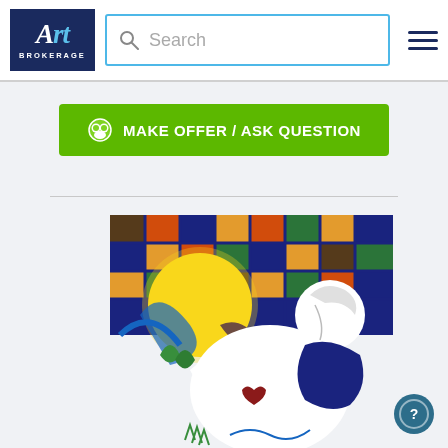[Figure (logo): Art Brokerage logo - white text on dark blue background]
Search
[Figure (other): Hamburger menu icon with three horizontal lines]
MAKE OFFER / ASK QUESTION
[Figure (illustration): Colorful artwork showing a stylized figure with a yellow sun, colorful grid background, white dove or figure with a small heart, against a blue and multicolored geometric background]